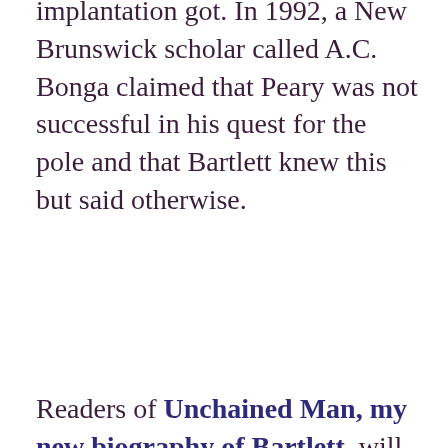implantation got. In 1992, a New Brunswick scholar called A.C. Bonga claimed that Peary was not successful in his quest for the pole and that Bartlett knew this but said otherwise.
Readers of Unchained Man, my new biography of Bartlett,  will know that Bonga was not the first person to make such an allegation. There was controversy from the moment Peary trekked back to his ship, the Roosevelt, after presumably reaching the pole and the arguments persisted for